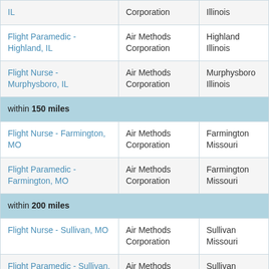| Job Title | Company | Location |
| --- | --- | --- |
| IL | Corporation | Illinois |
| Flight Paramedic - Highland, IL | Air Methods Corporation | Highland Illinois |
| Flight Nurse - Murphysboro, IL | Air Methods Corporation | Murphysboro Illinois |
| within 150 miles |  |  |
| Flight Nurse - Farmington, MO | Air Methods Corporation | Farmington Missouri |
| Flight Paramedic - Farmington, MO | Air Methods Corporation | Farmington Missouri |
| within 200 miles |  |  |
| Flight Nurse - Sullivan, MO | Air Methods Corporation | Sullivan Missouri |
| Flight Paramedic - Sullivan, MO | Air Methods Corporation | Sullivan Missouri |